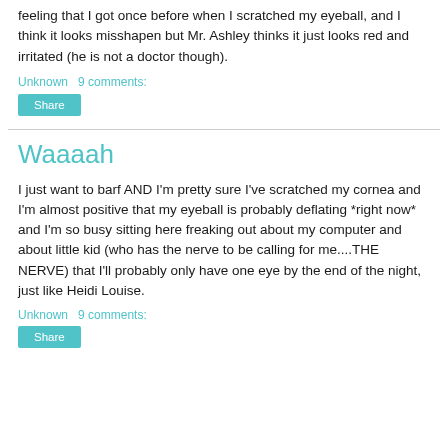feeling that I got once before when I scratched my eyeball, and I think it looks misshapen but Mr. Ashley thinks it just looks red and irritated (he is not a doctor though).
Unknown   9 comments:
Share
Waaaah
I just want to barf AND I'm pretty sure I've scratched my cornea and I'm almost positive that my eyeball is probably deflating *right now* and I'm so busy sitting here freaking out about my computer and about little kid (who has the nerve to be calling for me....THE NERVE) that I'll probably only have one eye by the end of the night, just like Heidi Louise.
Unknown   9 comments:
Share